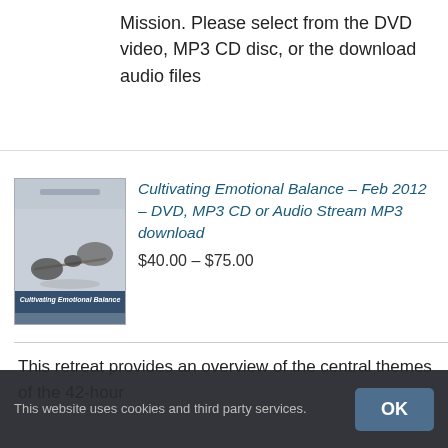Mission. Please select from the DVD video, MP3 CD disc, or the download audio files
[Figure (illustration): Book cover for 'Cultivating Emotional Balance' showing balanced stones on a wooden surface with muted blue-grey tones]
Cultivating Emotional Balance – Feb 2012 – DVD, MP3 CD or Audio Stream MP3 download
$40.00 – $75.00
This retreat provides an overview of the central themes of the 42-hour
This website uses cookies and third party services.
OK